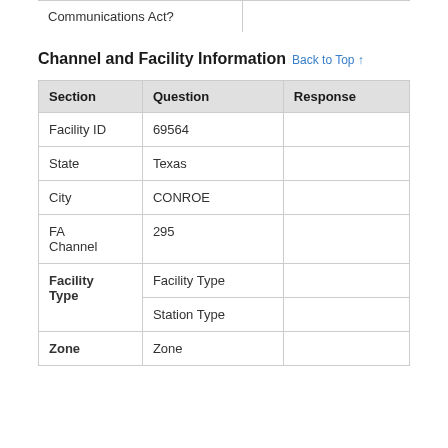|  | Communications Act? |  |
| --- | --- | --- |
|  |
Channel and Facility Information Back to Top ↑
| Section | Question | Response |
| --- | --- | --- |
| Facility ID | 69564 |  |
| State | Texas |  |
| City | CONROE |  |
| FA Channel | 295 |  |
| Facility Type | Facility Type |  |
|  | Station Type |  |
| Zone | Zone |  |